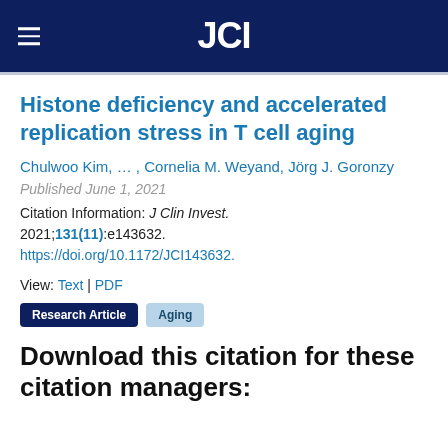JCI
Histone deficiency and accelerated replication stress in T cell aging
Chulwoo Kim, … , Cornelia M. Weyand, Jörg J. Goronzy
Published June 1, 2021
Citation Information: J Clin Invest. 2021;131(11):e143632. https://doi.org/10.1172/JCI143632.
View: Text | PDF
Research Article   Aging
Download this citation for these citation managers: